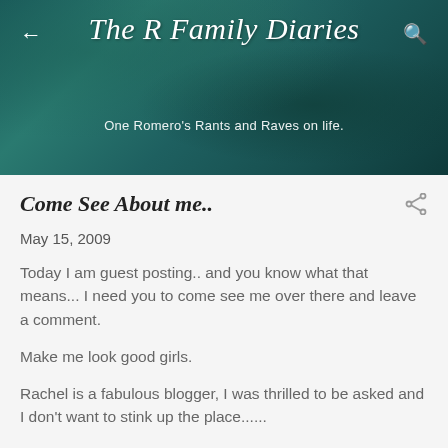The R Family Diaries
One Romero's Rants and Raves on life.
Come See About me..
May 15, 2009
Today I am guest posting.. and you know what that means... I need you to come see me over there and leave a comment.
Make me look good girls.
Rachel is a fabulous blogger, I was thrilled to be asked and I don't want to stink up the place......
Click Here.
NOW!